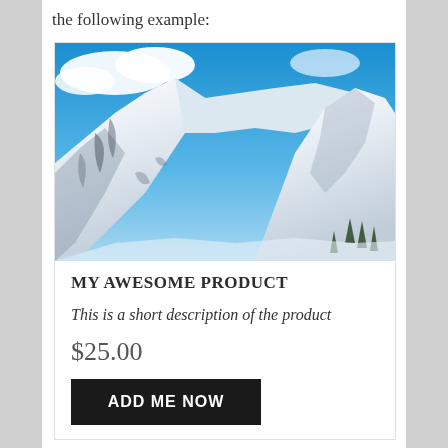the following example:
[Figure (photo): Aerial/perspective photograph of snow-covered mountain peaks with steep ridgelines and blue sky with clouds in the background.]
MY AWESOME PRODUCT
This is a short description of the product
$25.00
ADD ME NOW